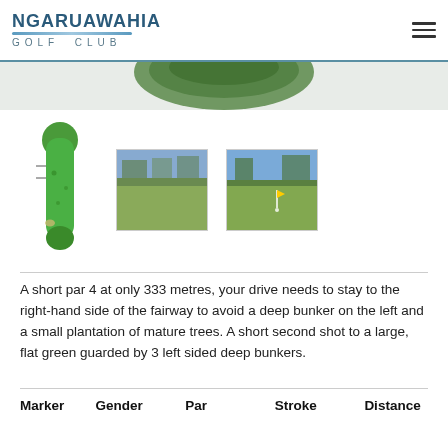NGARUAWAHIA GOLF CLUB
[Figure (photo): Top portion of a golf hole aerial/illustration image, partially visible at the top of the page]
[Figure (illustration): Overhead hole map diagram showing a narrow green fairway shape (hole layout) in green]
[Figure (photo): Photograph of golf fairway with grass and trees in background]
[Figure (photo): Photograph of golf green with flag and trees in background]
A short par 4 at only 333 metres, your drive needs to stay to the right-hand side of the fairway to avoid a deep bunker on the left and a small plantation of mature trees. A short second shot to a large, flat green guarded by 3 left sided deep bunkers.
| Marker | Gender | Par | Stroke | Distance |
| --- | --- | --- | --- | --- |